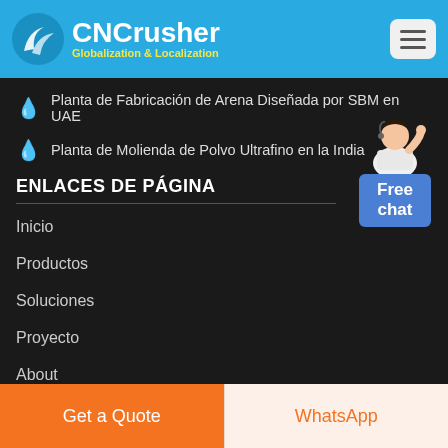CNCrusher – Globalization & Localization
Planta de Fabricación de Arena Diseñada por SBM en UAE
Planta de Molienda de Polvo Ultrafino en la India
ENLACES DE PÁGINA
Inicio
Productos
Soluciones
Proyecto
About
[Figure (illustration): Free chat support agent illustration with blue chat button]
Get a Quote
WhatsApp